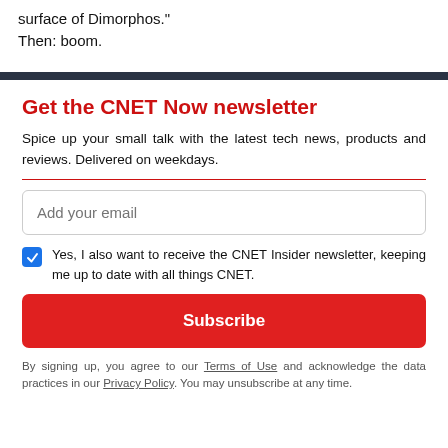surface of Dimorphos."
Then: boom.
Get the CNET Now newsletter
Spice up your small talk with the latest tech news, products and reviews. Delivered on weekdays.
Add your email
Yes, I also want to receive the CNET Insider newsletter, keeping me up to date with all things CNET.
Subscribe
By signing up, you agree to our Terms of Use and acknowledge the data practices in our Privacy Policy. You may unsubscribe at any time.